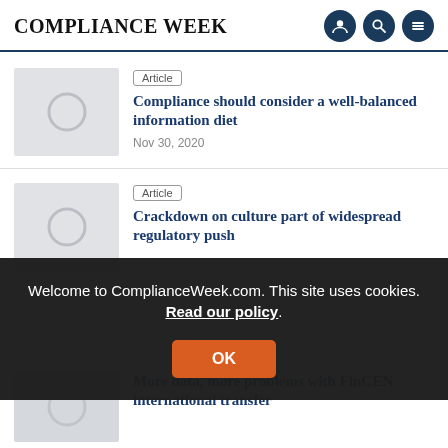COMPLIANCE WEEK
Article
Compliance should consider a well-balanced information diet
Nov 30, 2020
Article
Crackdown on culture part of widespread regulatory push
More data, more problems with FinCEN international transfer
Welcome to ComplianceWeek.com. This site uses cookies. Read our policy.
OK